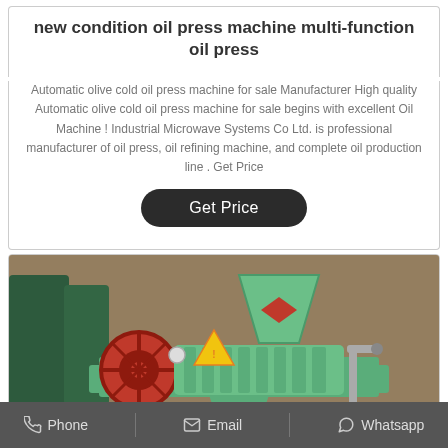new condition oil press machine multi-function oil press
Automatic olive cold oil press machine for sale Manufacturer High quality Automatic olive cold oil press machine for sale begins with excellent Oil Machine ! Industrial Microwave Systems Co Ltd. is professional manufacturer of oil press, oil refining machine, and complete oil production line . Get Price
Get Price
[Figure (photo): Photo of a green oil press machine with a red flywheel on the left, a funnel-shaped hopper on top, and a mechanical pressing barrel body, set in an industrial facility.]
Phone  Email  Whatsapp